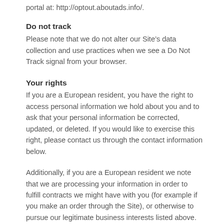portal at: http://optout.aboutads.info/.
Do not track
Please note that we do not alter our Site’s data collection and use practices when we see a Do Not Track signal from your browser.
Your rights
If you are a European resident, you have the right to access personal information we hold about you and to ask that your personal information be corrected, updated, or deleted. If you would like to exercise this right, please contact us through the contact information below.
Additionally, if you are a European resident we note that we are processing your information in order to fulfill contracts we might have with you (for example if you make an order through the Site), or otherwise to pursue our legitimate business interests listed above. Additionally, please note that your information will be transferred outside of Europe, including to Canada and the United States.